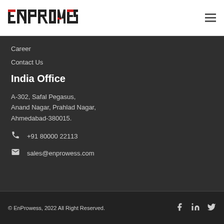ENPROWESS [logo with hamburger menu]
Career
Contact Us
India Office
A-302, Safal Pegasus,
Anand Nagar, Prahlad Nagar,
Ahmedabad-380015.
+91 80000 22113
sales@enprowess.com
© EnProwess, 2022 All Right Reserved.